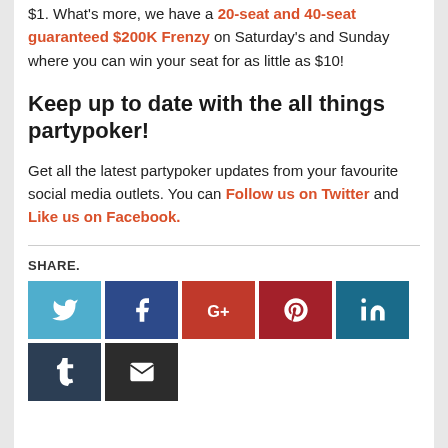$1. What's more, we have a 20-seat and 40-seat guaranteed $200K Frenzy on Saturday's and Sunday where you can win your seat for as little as $10!
Keep up to date with the all things partypoker!
Get all the latest partypoker updates from your favourite social media outlets. You can Follow us on Twitter and Like us on Facebook.
SHARE.
[Figure (infographic): Social media share buttons: Twitter (light blue), Facebook (dark blue), Google+ (red), Pinterest (dark red), LinkedIn (teal), Tumblr (dark blue-grey), Email (dark grey)]